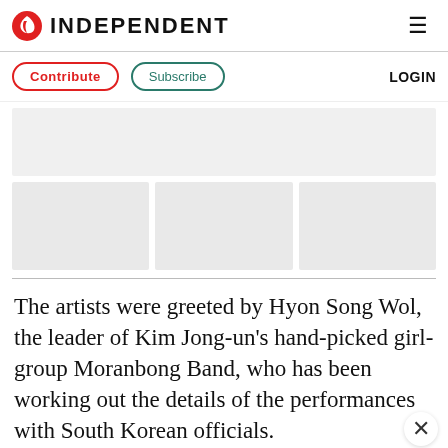INDEPENDENT
[Figure (other): Contribute and Subscribe navigation buttons with LOGIN link]
[Figure (other): Advertisement banner placeholder (gray box)]
[Figure (other): Three image placeholders in a row (gray boxes)]
The artists were greeted by Hyon Song Wol, the leader of Kim Jong-un's hand-picked girl-group Moranbong Band, who has been working out the details of the performances with South Korean officials.